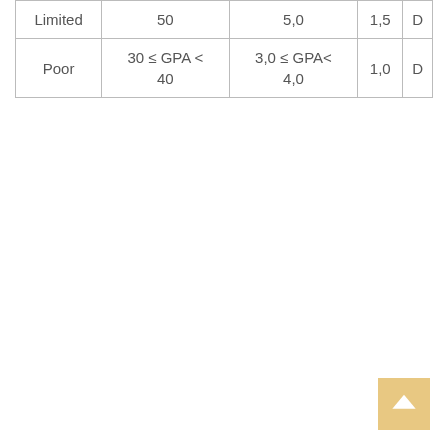| Limited | 50 | 5,0 | 1,5 | D |
| Poor | 30 ≤ GPA < 40 | 3,0 ≤ GPA< 4,0 | 1,0 | D |